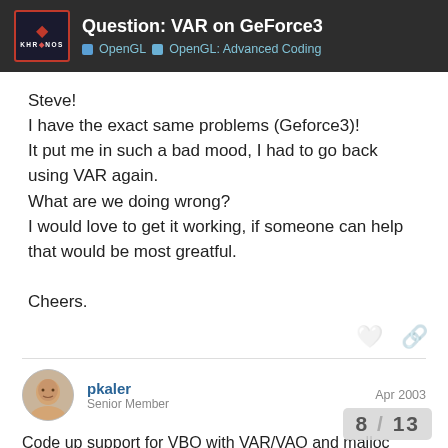Question: VAR on GeForce3 | OpenGL | OpenGL: Advanced Coding
Steve!
I have the exact same problems (Geforce3)!
It put me in such a bad mood, I had to go back using VAR again.
What are we doing wrong?
I would love to get it working, if someone can help that would be most greatful.

Cheers.
pkaler — Senior Member — Apr 2003
Code up support for VBO with VAR/VAO and malloc fallbacks. Pick at runtime what is faster. VBO should drivers develop more